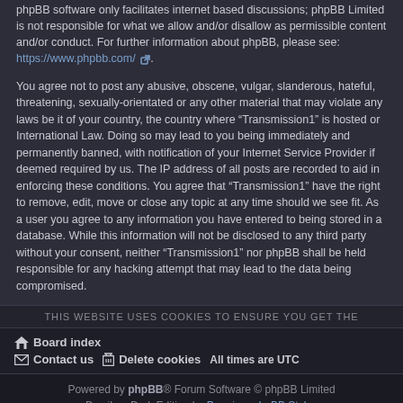phpBB software only facilitates internet based discussions; phpBB Limited is not responsible for what we allow and/or disallow as permissible content and/or conduct. For further information about phpBB, please see: https://www.phpbb.com/.
You agree not to post any abusive, obscene, vulgar, slanderous, hateful, threatening, sexually-orientated or any other material that may violate any laws be it of your country, the country where “Transmission1” is hosted or International Law. Doing so may lead to you being immediately and permanently banned, with notification of your Internet Service Provider if deemed required by us. The IP address of all posts are recorded to aid in enforcing these conditions. You agree that “Transmission1” have the right to remove, edit, move or close any topic at any time should we see fit. As a user you agree to any information you have entered to being stored in a database. While this information will not be disclosed to any third party without your consent, neither “Transmission1” nor phpBB shall be held responsible for any hacking attempt that may lead to the data being compromised.
THIS WEBSITE USES COOKIES TO ENSURE YOU GET THE
Board index | Contact us | Delete cookies | All times are UTC
Powered by phpBB® Forum Software © phpBB Limited
Prosilver Dark Edition by Premium phpBB Styles
Privacy | Terms